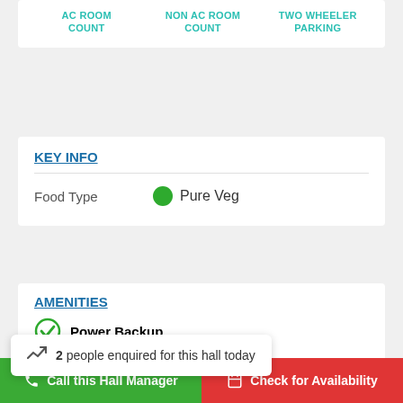| AC ROOM COUNT | NON AC ROOM COUNT | TWO WHEELER PARKING |
| --- | --- | --- |
|  |
KEY INFO
Food Type   ● Pure Veg
AMENITIES
Power Backup
Kitchen
Restroom
Dance Floor
2  people enquired for this hall today
Call this Hall Manager   Check for Availability